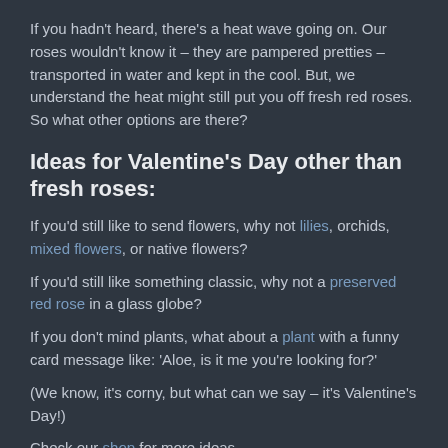If you hadn't heard, there's a heat wave going on. Our roses wouldn't know it – they are pampered pretties – transported in water and kept in the cool. But, we understand the heat might still put you off fresh red roses. So what other options are there?
Ideas for Valentine's Day other than fresh roses:
If you'd still like to send flowers, why not lilies, orchids, mixed flowers, or native flowers?
If you'd still like something classic, why not a preserved red rose in a glass globe?
If you don't mind plants, what about a plant with a funny card message like: 'Aloe, is it me you're looking for?'
(We know, it's corny, but what can we say – it's Valentine's Day!)
Check our shop for more ideas
Or go with the classic red roses anyway. They say Tuesday will